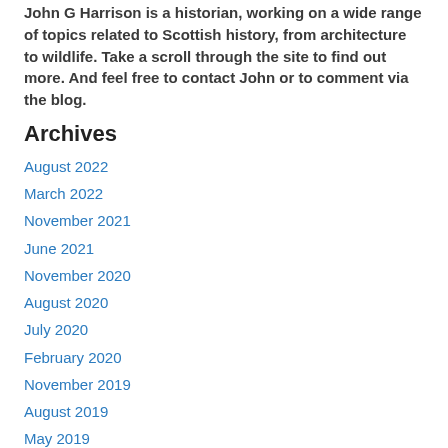John G Harrison is a historian, working on a wide range of topics related to Scottish history, from architecture to wildlife. Take a scroll through the site to find out more. And feel free to contact John or to comment via the blog.
Archives
August 2022
March 2022
November 2021
June 2021
November 2020
August 2020
July 2020
February 2020
November 2019
August 2019
May 2019
March 2019
February 2019
September 2018
August 2018